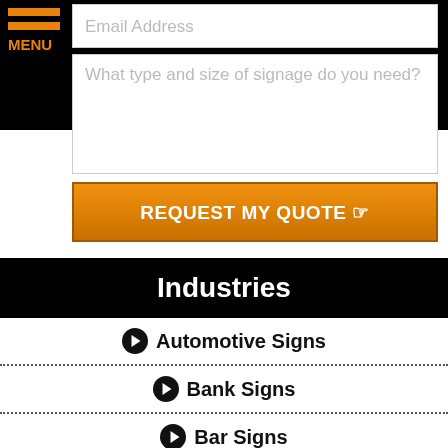Email Address
What type and size of signage do you need?
REQUEST MY QUOTE
Industries
Automotive Signs
Bank Signs
Bar Signs
Barber Signs